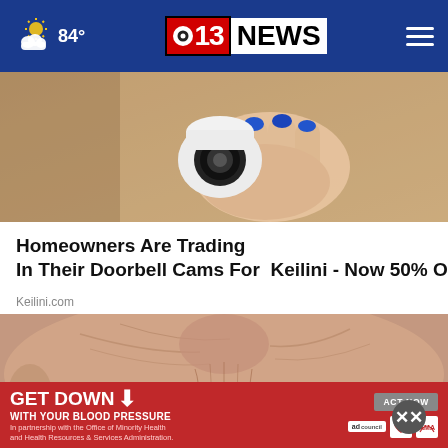84° CBS 13 NEWS
[Figure (photo): Hand with blue fingernails holding a white security/dome camera against a beige wall]
Homeowners Are Trading In Their Doorbell Cams For  Keilini - Now 50% Off
Keilini.com
[Figure (photo): Extreme close-up of elderly woman's face, showing lips with red lipstick and wrinkled skin]
[Figure (infographic): Red advertisement banner: GET DOWN WITH YOUR BLOOD PRESSURE - ACT NOW, with ad council, American Heart Association, and AMA logos]